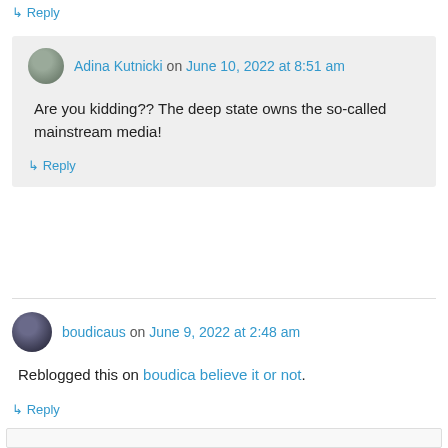↳ Reply
Adina Kutnicki on June 10, 2022 at 8:51 am
Are you kidding?? The deep state owns the so-called mainstream media!
↳ Reply
boudicaus on June 9, 2022 at 2:48 am
Reblogged this on boudica believe it or not.
↳ Reply